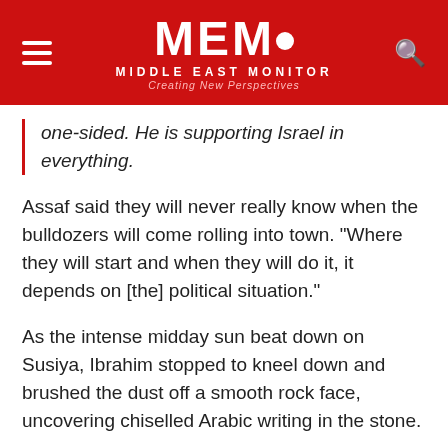[Figure (logo): MEMO Middle East Monitor logo on red background with hamburger menu icon on left and search icon on right. Tagline: Creating New Perspectives]
one-sided. He is supporting Israel in everything.
Assaf said they will never really know when the bulldozers will come rolling into town. "Where they will start and when they will do it, it depends on [the] political situation."
As the intense midday sun beat down on Susiya, Ibrahim stopped to kneel down and brushed the dust off a smooth rock face, uncovering chiselled Arabic writing in the stone.